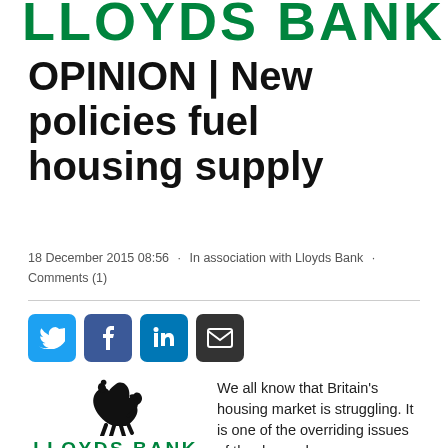LLOYDS BANK
OPINION | New policies fuel housing supply
18 December 2015 08:56 · In association with Lloyds Bank · Comments (1)
[Figure (infographic): Social sharing buttons: Twitter (blue), Facebook (blue), LinkedIn (blue), Email (dark)]
[Figure (logo): Lloyds Bank black horse logo with LLOYDS BANK text in green]
We all know that Britain's housing market is struggling. It is one of the overriding issues of the day and a